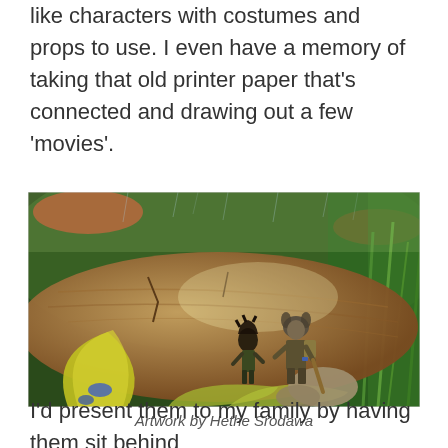like characters with costumes and props to use. I even have a memory of taking that old printer paper that's connected and drawing out a few 'movies'.
[Figure (illustration): Fantasy digital artwork showing two adventurer characters — a smaller figure with wild dark hair wearing dark armor, and a taller armored figure with an animal-like helmet — exploring a lush forest environment with giant mushrooms, a large fallen log, yellow-green plants, and rain effects.]
Artwork by Hethe Srodawa
I'd present them to my family by having them sit behind